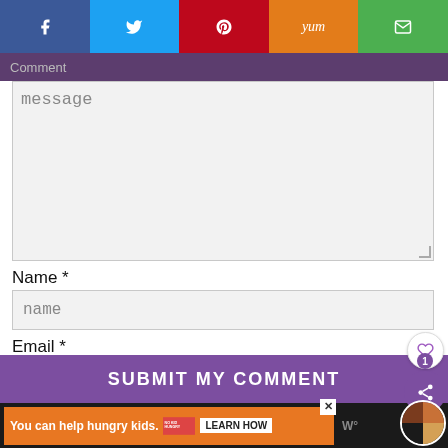[Figure (screenshot): Social share bar with Facebook, Twitter, Pinterest, Yummly, Email buttons]
Comment
message
Name *
name
Email *
email
Save my name, email, and website in this browser for the next time I comment.
Yes, add me to your mailing list
SUBMIT MY COMMENT
You can help hungry kids. NO KID HUNGRY LEARN HOW